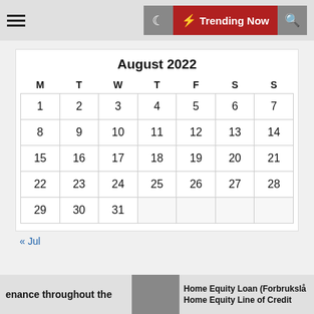≡  🌙  ⚡ Trending Now  🔍
August 2022
| M | T | W | T | F | S | S |
| --- | --- | --- | --- | --- | --- | --- |
| 1 | 2 | 3 | 4 | 5 | 6 | 7 |
| 8 | 9 | 10 | 11 | 12 | 13 | 14 |
| 15 | 16 | 17 | 18 | 19 | 20 | 21 |
| 22 | 23 | 24 | 25 | 26 | 27 | 28 |
| 29 | 30 | 31 |  |  |  |  |
« Jul
enance throughout the   Home Equity Loan (Forbrukslån) vs. Home Equity Line of Credit